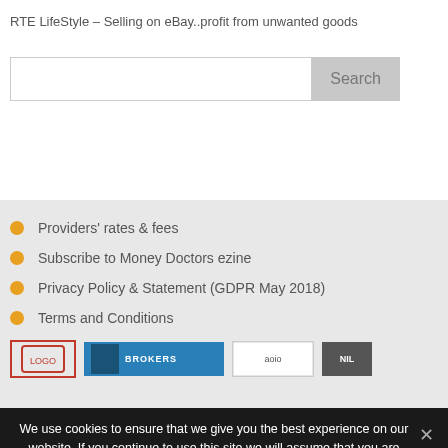RTE LifeStyle – Selling on eBay..profit from unwanted goods
Providers' rates & fees
Subscribe to Money Doctors ezine
Privacy Policy & Statement (GDPR May 2018)
Terms and Conditions
We use cookies to ensure that we give you the best experience on our website. If you continue to use this site we will assume that you are happy with it.
Ok   Read more
Share This